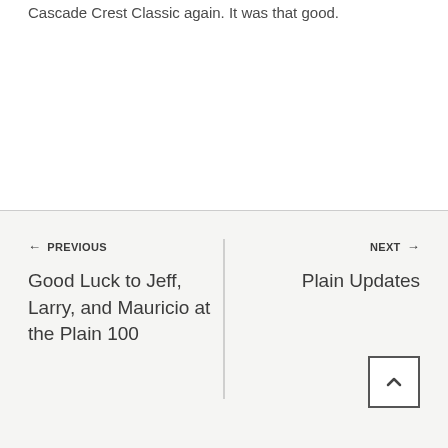Cascade Crest Classic again. It was that good.
← PREVIOUS
Good Luck to Jeff, Larry, and Mauricio at the Plain 100
NEXT →
Plain Updates